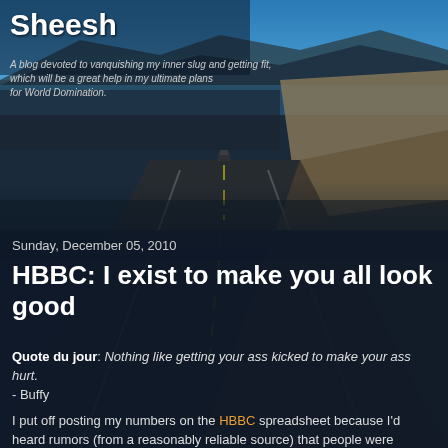Sheesh
A blog devoted to vanquishing my inner slug and getting fit, which will be a great help in my ultimate plans for World Domination.
Sunday, December 05, 2010
HBBC: I exist to make you all look good
Quote du jour: Nothing like getting your ass kicked to make your ass hurt.
- Buffy
I put off posting my numbers on the HBBC spreadsheet because I'd heard rumors (from a reasonably reliable source) that people were kicking ass, posting thousands a whole lot of exercise points each day.
I thought looking at their exuberance would depress me. I